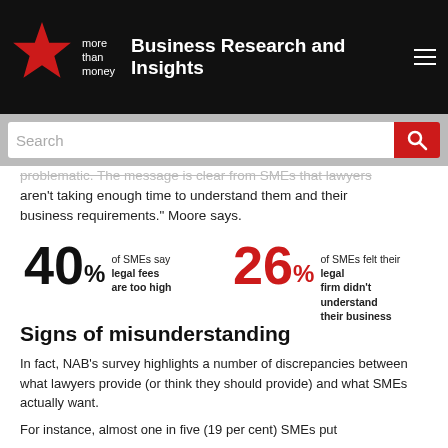more than money — Business Research and Insights
[Figure (other): Search bar with red search button]
problematic. The message is clear from SMEs that lawyers aren't taking enough time to understand them and their business requirements." Moore says.
[Figure (infographic): 40% of SMEs say legal fees are too high; 26% of SMEs felt their legal firm didn't understand their business]
Signs of misunderstanding
In fact, NAB's survey highlights a number of discrepancies between what lawyers provide (or think they should provide) and what SMEs actually want.
For instance, almost one in five (19 per cent) SMEs put